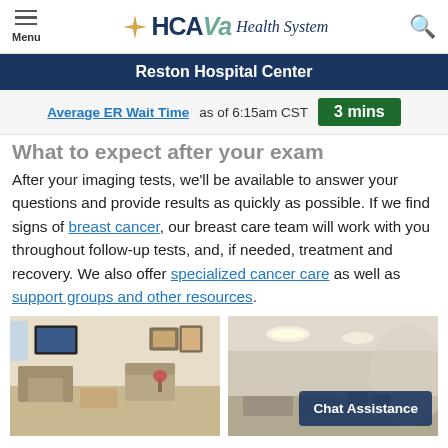Menu | HCA Va Health System | [search]
Reston Hospital Center
Average ER Wait Time as of 6:15am CST   3 mins
What to expect after your exam
After your imaging tests, we'll be available to answer your questions and provide results as quickly as possible. If we find signs of breast cancer, our breast care team will work with you throughout follow-up tests, and, if needed, treatment and recovery. We also offer specialized cancer care as well as support groups and other resources.
[Figure (photo): Hospital waiting room with sofas, coffee table, artwork on walls]
[Figure (photo): Hospital interior room with ceiling lights and seating area, Chat Assistance overlay badge]